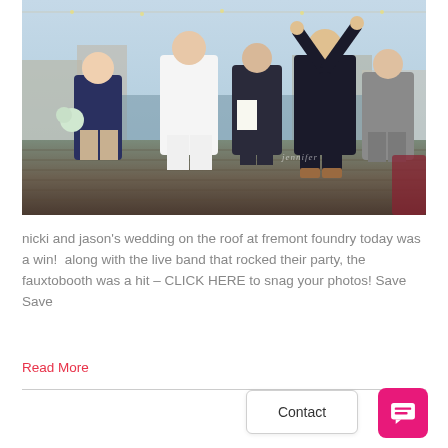[Figure (photo): Wedding photo on a rooftop at Fremont Foundry. Five people standing outdoors on a wooden deck rooftop. Bride in white dress, groom in dark suit with hands raised in celebration, a woman in navy blue dress with bouquet, an officiant reading from a booklet, and another man in grey suit. String lights visible above. Urban background with buildings and blue sky.]
nicki and jason's wedding on the roof at fremont foundry today was a win!  along with the live band that rocked their party, the fauxtobooth was a hit – CLICK HERE to snag your photos! Save Save
Read More